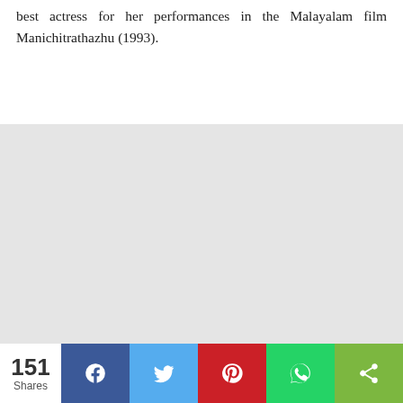best actress for her performances in the Malayalam film Manichitrathazhu (1993).
[Figure (other): Large light gray placeholder/image area]
151 Shares | Facebook | Twitter | Pinterest | WhatsApp | Share